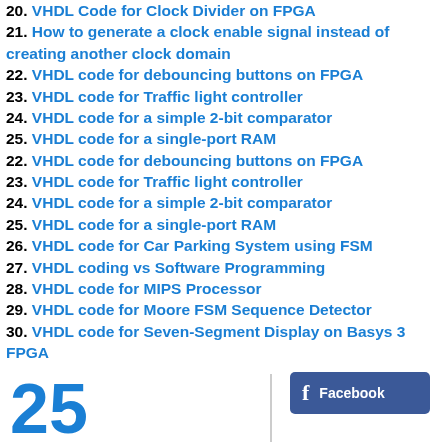20. VHDL Code for Clock Divider on FPGA
21. How to generate a clock enable signal instead of creating another clock domain
22. VHDL code for debouncing buttons on FPGA
23. VHDL code for Traffic light controller
24. VHDL code for a simple 2-bit comparator
25. VHDL code for a single-port RAM
22. VHDL code for debouncing buttons on FPGA
23. VHDL code for Traffic light controller
24. VHDL code for a simple 2-bit comparator
25. VHDL code for a single-port RAM
26. VHDL code for Car Parking System using FSM
27. VHDL coding vs Software Programming
28. VHDL code for MIPS Processor
29. VHDL code for Moore FSM Sequence Detector
30. VHDL code for Seven-Segment Display on Basys 3 FPGA
[Figure (other): Facebook social share button with 'f' icon and 'Facebook' text on blue background, and partial view of another button below. Left side shows partial large blue number '25'.]